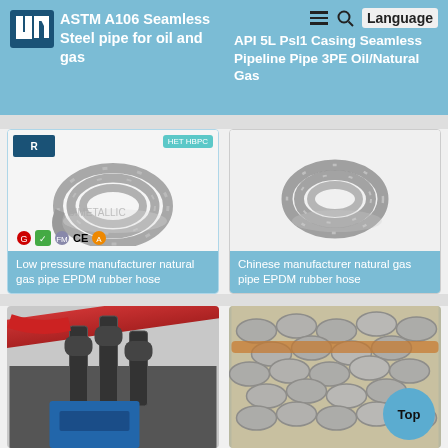[Figure (screenshot): Website header with logo, navigation icons, and language button. Left side shows 'ASTM A106 Seamless Steel pipe for oil and gas' product title on blue background. Right side shows 'API 5L Psl1 Casing Seamless Pipeline Pipe 3PE Oil/Natural Gas' on blue background.]
ASTM A106 Seamless Steel pipe for oil and gas
API 5L Psl1 Casing Seamless Pipeline Pipe 3PE Oil/Natural Gas
[Figure (photo): Coiled grey EPDM rubber hose on white background, with certification logos at bottom]
Low pressure manufacturer natural gas pipe EPDM rubber hose
[Figure (photo): Coiled grey EPDM rubber hose on white background]
Chinese manufacturer natural gas pipe EPDM rubber hose
[Figure (photo): Plastic pipe fittings and connectors on machinery, red hose visible]
[Figure (photo): Bundle of galvanized steel pipes stacked together]